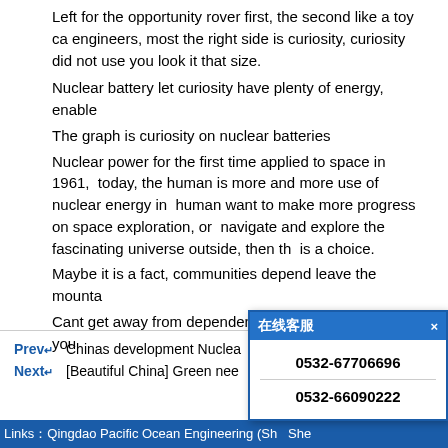Left for the opportunity rover first, the second like a toy ca engineers, most the right side is curiosity, curiosity did not use you look it that size.
Nuclear battery let curiosity have plenty of energy, enable
The graph is curiosity on nuclear batteries
Nuclear power for the first time applied to space in 1961, today, the human is more and more use of nuclear energy in human want to make more progress on space exploration, or navigate and explore the fascinating universe outside, then th is a choice.
Maybe it is a fact, communities depend leave the mounta
Cant get away from dependence on the sun, how can you
Prev: Chinas development Nuclea... un
Next: [Beautiful China] Green nee... te"
[Figure (screenshot): Popup overlay showing Chinese customer service header (在线客服) with a close button (×), displaying two phone numbers: 0532-67706696 and 0532-66090222]
Links: Qingdao Pacific Ocean Engineering (Sh... She